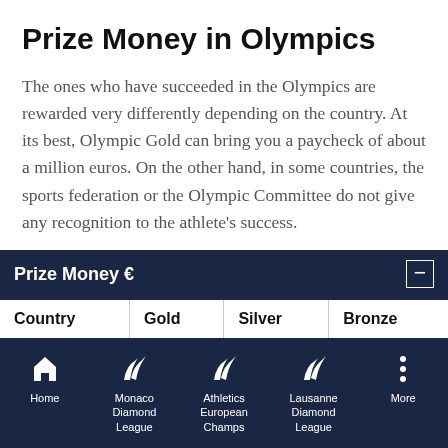Prize Money in Olympics
The ones who have succeeded in the Olympics are rewarded very differently depending on the country. At its best, Olympic Gold can bring you a paycheck of about a million euros. On the other hand, in some countries, the sports federation or the Olympic Committee do not give any recognition to the athlete’s success.
| Country | Gold | Silver | Bronze |
| --- | --- | --- | --- |
Home | Monaco Diamond League | Athletics European Champs | Lausanne Diamond League | More